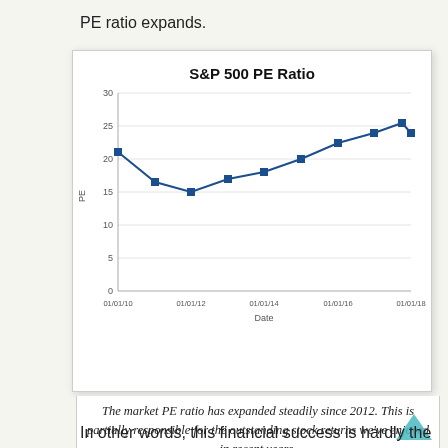PE ratio expands.
[Figure (line-chart): S&P 500 PE Ratio]
The market PE ratio has expanded steadily since 2012. This is partially responsible for the outstanding stock returns we've enjoyed in recent years.
In other words, this financial success is hardly the